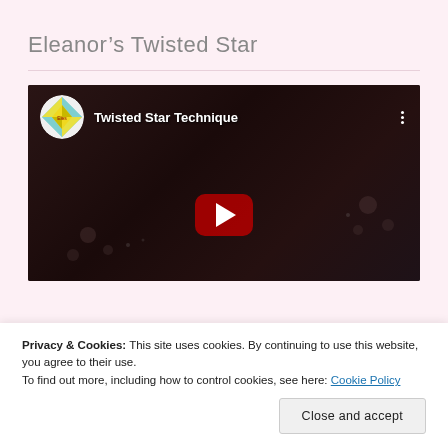Eleanor’s Twisted Star
[Figure (screenshot): YouTube video embed showing 'Twisted Star Technique' with channel logo, video title, three-dot menu icon, dark background with crafting materials visible, and red YouTube play button in the center]
Privacy & Cookies: This site uses cookies. By continuing to use this website, you agree to their use.
To find out more, including how to control cookies, see here: Cookie Policy
Close and accept